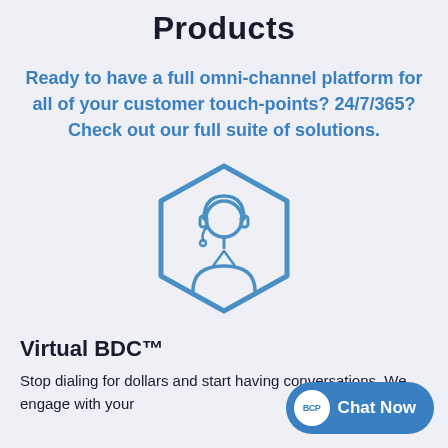Products
Ready to have a full omni-channel platform for all of your customer touch-points? 24/7/365? Check out our full suite of solutions.
[Figure (illustration): Hexagonal icon with a customer service agent wearing a headset, rendered in blue outline style]
Virtual BDC™
Stop dialing for dollars and start having conversations. We engage with your